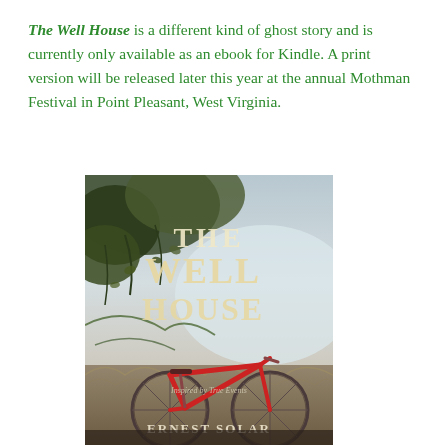The Well House is a different kind of ghost story and is currently only available as an ebook for Kindle. A print version will be released later this year at the annual Mothman Festival in Point Pleasant, West Virginia.
[Figure (photo): Book cover of 'The Well House' by Ernest Solar showing a red bicycle leaning against overgrown foliage with decorative text. Subtitle reads 'Inspired by True Events'.]